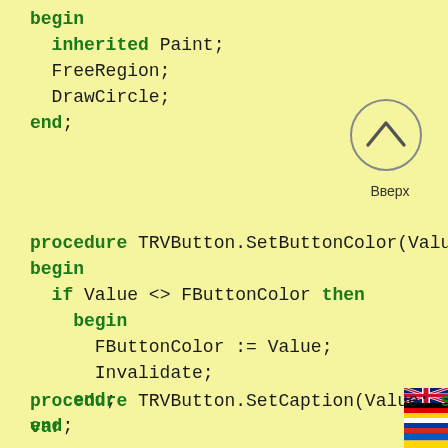begin
  inherited Paint;
  FreeRegion;
  DrawCircle;
end;
[Figure (illustration): A circular button with an upward-pointing chevron arrow icon, labeled 'Вверх' (Up in Russian) below it]
procedure TRVButton.SetButtonColor(Value: TColor);
begin
  if Value <> FButtonColor then
    begin
      FButtonColor := Value;
      Invalidate;
    end;
end;
[Figure (illustration): A vertical strip of four country flags: UK (Union Jack), Germany, Russia, Ukraine]
procedure TRVButton.SetCaption(Value: string);
var